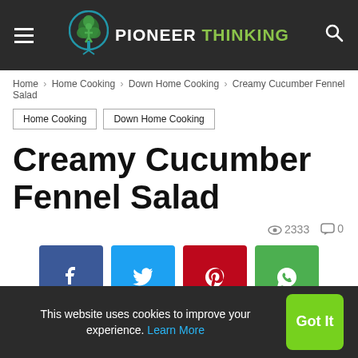Pioneer Thinking
Home › Home Cooking › Down Home Cooking › Creamy Cucumber Fennel Salad
Home Cooking
Down Home Cooking
Creamy Cucumber Fennel Salad
2333 views  0 comments
[Figure (other): Social share buttons: Facebook, Twitter, Pinterest, WhatsApp]
This website uses cookies to improve your experience. Learn More  Got It